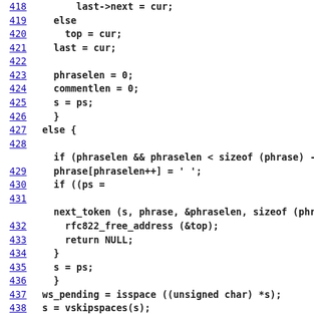418   last->next = cur;
419   else
420     top = cur;
421   last = cur;
422
423   phraselen = 0;
424   commentlen = 0;
425   s = ps;
426   }
427   else {
428
      if (phraselen && phraselen < sizeof (phrase) - 1 && ws_pending
429   phrase[phraselen++] = ' ';
430   if ((ps =
431
      next_token (s, phrase, &phraselen, sizeof (phrase) - 1)) == NU
432   rfc822_free_address (&top);
433   return NULL;
434   }
435   s = ps;
436   }
437   ws_pending = isspace ((unsigned char) *s);
438   s = vskipspaces(s);
439   }
440